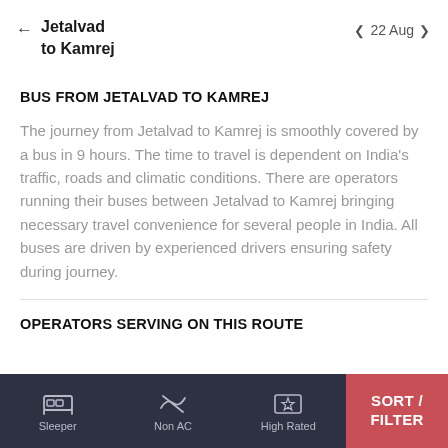Jetalvad to Kamrej   22 Aug
BUS FROM JETALVAD TO KAMREJ
The journey from Jetalvad to Kamrej is smoothly covered by a bus in 9 hours. The time to travel is dependent on India's traffic, roads and climatic conditions. There are operators running their buses between Jetalvad to Kamrej bringing necessary travel convenience for several people in India. All buses are driven by experienced drivers ensuring safety during journey.
OPERATORS SERVING ON THIS ROUTE
Sleeper   Non AC   High Rated   SORT / FILTER